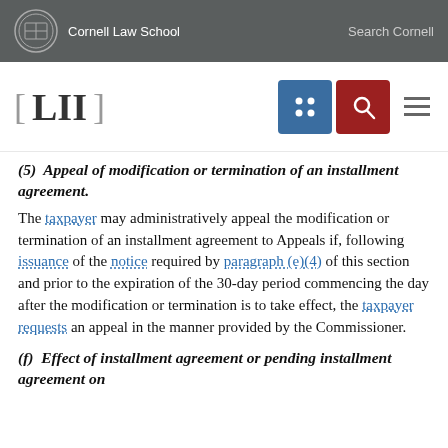Cornell Law School | Search Cornell
[Figure (logo): LII Legal Information Institute logo with navigation icons (grid icon in blue, search icon in red, hamburger menu)]
(5) Appeal of modification or termination of an installment agreement.
The taxpayer may administratively appeal the modification or termination of an installment agreement to Appeals if, following issuance of the notice required by paragraph (e)(4) of this section and prior to the expiration of the 30-day period commencing the day after the modification or termination is to take effect, the taxpayer requests an appeal in the manner provided by the Commissioner.
(f) Effect of installment agreement or pending installment agreement on